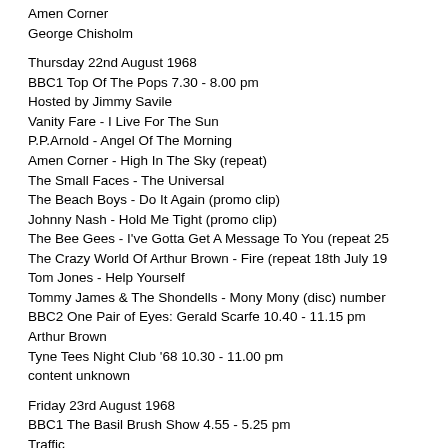Amen Corner
George Chisholm
Thursday 22nd August 1968
BBC1 Top Of The Pops 7.30 - 8.00 pm
Hosted by Jimmy Savile
Vanity Fare - I Live For The Sun
P.P.Arnold - Angel Of The Morning
Amen Corner - High In The Sky (repeat)
The Small Faces - The Universal
The Beach Boys - Do It Again (promo clip)
Johnny Nash - Hold Me Tight (promo clip)
The Bee Gees - I've Gotta Get A Message To You (repeat 25
The Crazy World Of Arthur Brown - Fire (repeat 18th July 19
Tom Jones - Help Yourself
Tommy James & The Shondells - Mony Mony (disc) number
BBC2 One Pair of Eyes: Gerald Scarfe 10.40 - 11.15 pm
Arthur Brown
Tyne Tees Night Club '68 10.30 - 11.00 pm
content unknown
Friday 23rd August 1968
BBC1 The Basil Brush Show 4.55 - 5.25 pm
Traffic
BBC1 How It Is 6.00 - 6.35 pm
Hosted by Pete Asher, John Peel, Richard Neville